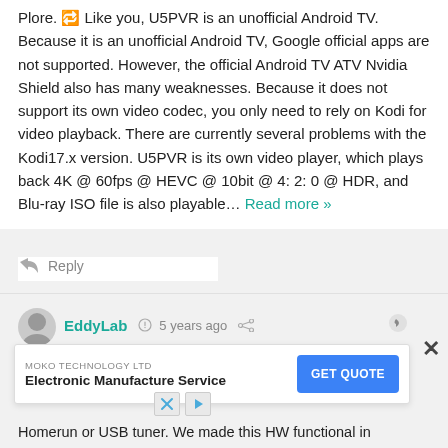Plore. 🔁 Like you, U5PVR is an unofficial Android TV. Because it is an unofficial Android TV, Google official apps are not supported. However, the official Android TV ATV Nvidia Shield also has many weaknesses. Because it does not support its own video codec, you only need to rely on Kodi for video playback. There are currently several problems with the Kodi17.x version. U5PVR is its own video player, which plays back 4K @ 60fps @ HEVC @ 10bit @ 4: 2: 0 @ HDR, and Blu-ray ISO file is also playable… Read more »
↩ Reply
[Figure (illustration): User avatar circle icon (grey)]
EddyLab  🕐 5 years ago  🔗
@Mr... t your... broac...
[Figure (infographic): Advertisement banner: MOKO TECHNOLOGY LTD - Electronic Manufacture Service - GET QUOTE button]
Homerun or USB tuner. We made this HW functional in